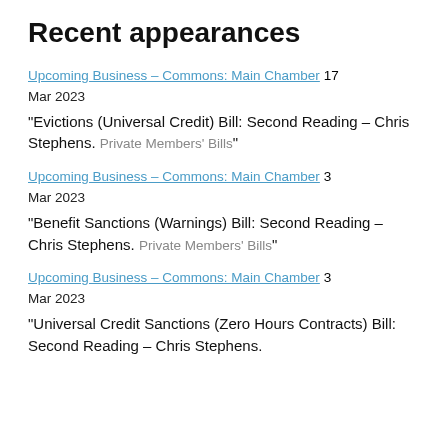Recent appearances
Upcoming Business – Commons: Main Chamber 17 Mar 2023
"Evictions (Universal Credit) Bill: Second Reading – Chris Stephens. Private Members' Bills"
Upcoming Business – Commons: Main Chamber 3 Mar 2023
"Benefit Sanctions (Warnings) Bill: Second Reading – Chris Stephens. Private Members' Bills"
Upcoming Business – Commons: Main Chamber 3 Mar 2023
"Universal Credit Sanctions (Zero Hours Contracts) Bill: Second Reading – Chris Stephens.